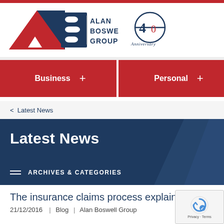[Figure (logo): Alan Boswell Group logo with red and blue triangular 'AB' mark and 40th Anniversary badge]
Business + | Personal + | [Search]
< Latest News
Latest News
ARCHIVES & CATEGORIES
The insurance claims process explained
21/12/2016  |  Blog  |  Alan Boswell Group